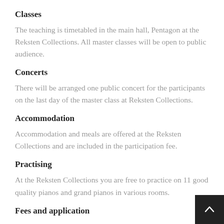Classes
The teaching is timetabled in the main hall, Pentagon at the Reksten Collections. All master classes will be open to public audience.
Concerts
There will be arranged one public concert for the participants on the last day of the master class at Reksten Collections.
Accommodation
Accommodation and meals are offered at the Reksten Collections and are included in the participation fee.
Practising
At the Reksten Collections you are free to practice on 11 good quality pianos and grand pianos in various rooms.
Fees and application